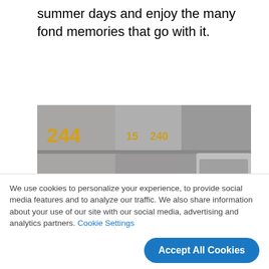summer days and enjoy the many fond memories that go with it.
[Figure (photo): A vintage green sports car partially covered with a white car cover, parked in a parking garage. Number 244 is visible in yellow on the garage wall. Another car is visible in the background.]
We use cookies to personalize your experience, to provide social media features and to analyze our traffic. We also share information about your use of our site with our social media, advertising and analytics partners. Cookie Settings
Accept All Cookies